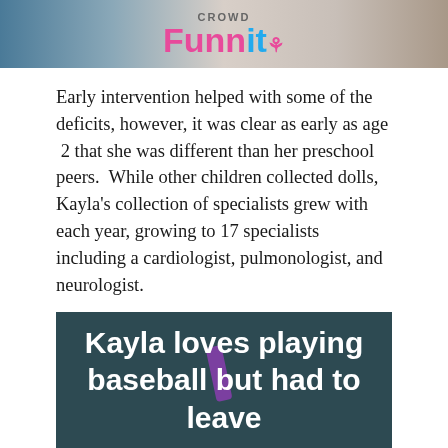[Figure (photo): Top portion of a CrowdFunIt logo/banner image with colorful fundraising branding]
Early intervention helped with some of the deficits, however, it was clear as early as age  2 that she was different than her preschool peers.  While other children collected dolls, Kayla's collection of specialists grew with each year, growing to 17 specialists including a cardiologist, pulmonologist, and neurologist.
Early elementary school and special education activities provided Kayla with a social outlet, but as she aged, socialization and friendships became profoundly more difficult.
[Figure (photo): Dark teal/blue background image with white bold text reading 'Kayla loves playing baseball but had to leave', with a purple object visible in the middle of the image]